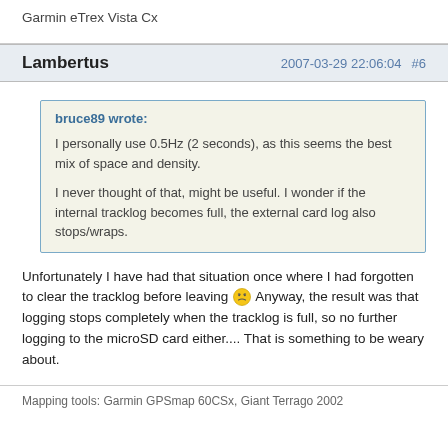Garmin eTrex Vista Cx
Lambertus  2007-03-29 22:06:04  #6
bruce89 wrote:
I personally use 0.5Hz (2 seconds), as this seems the best mix of space and density.

I never thought of that, might be useful.  I wonder if the internal tracklog becomes full, the external card log also stops/wraps.
Unfortunately I have had that situation once where I had forgotten to clear the tracklog before leaving 😟 Anyway, the result was that logging stops completely when the tracklog is full, so no further logging to the microSD card either.... That is something to be weary about.
Mapping tools: Garmin GPSmap 60CSx, Giant Terrago 2002